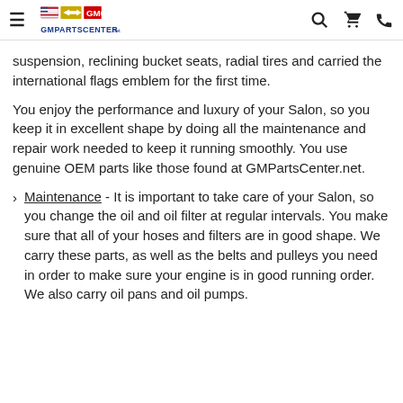GMPartsCenter.net
suspension, reclining bucket seats, radial tires and carried the international flags emblem for the first time.
You enjoy the performance and luxury of your Salon, so you keep it in excellent shape by doing all the maintenance and repair work needed to keep it running smoothly. You use genuine OEM parts like those found at GMPartsCenter.net.
Maintenance - It is important to take care of your Salon, so you change the oil and oil filter at regular intervals. You make sure that all of your hoses and filters are in good shape. We carry these parts, as well as the belts and pulleys you need in order to make sure your engine is in good running order. We also carry oil pans and oil pumps.